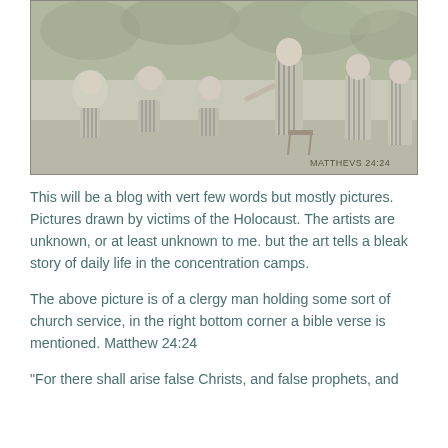[Figure (illustration): A pencil or charcoal sketch drawing of concentration camp prisoners in striped uniforms gathered around a clergy man holding a church service outdoors. Several figures are seated or kneeling on the ground. In the bottom right corner the text 'MATTHEVS 24:24' is inscribed.]
This will be a blog with vert few words but mostly pictures. Pictures drawn by victims of the Holocaust. The artists are unknown, or at least unknown to me. but the art tells a bleak story of daily life in the concentration camps.
The above picture is of a clergy man holding some sort of church service, in the right bottom corner a bible verse is mentioned. Matthew 24:24
“For there shall arise false Christs, and false prophets, and